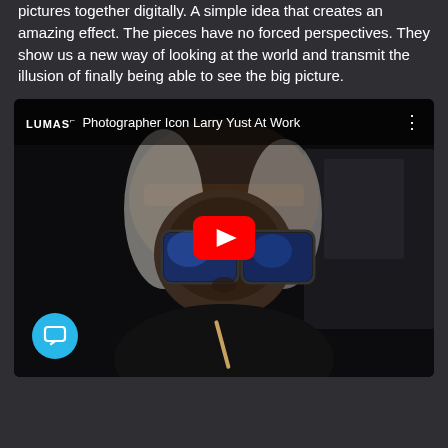pictures together digitally. A simple idea that creates an amazing effect. The pieces have no forced perspectives. They show us a new way of looking at the world and transmit the illusion of finally being able to see the big picture.
[Figure (screenshot): YouTube video embed showing photographer Larry Yust at work. Dark photo of an elderly man with white hair and large glasses. Video title bar shows LUMAS logo and 'Photographer Icon Larry Yust At Work'. Red YouTube play button in center. Blue chat bubble icon in bottom left corner.]